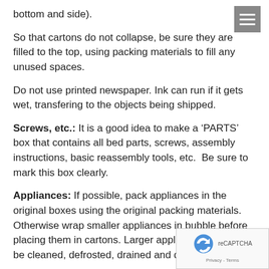bottom and side).
So that cartons do not collapse, be sure they are filled to the top, using packing materials to fill any unused spaces.
Do not use printed newspaper. Ink can run if it gets wet, transfering to the objects being shipped.
Screws, etc.: It is a good idea to make a ‘PARTS’ box that contains all bed parts, screws, assembly instructions, basic reassembly tools, etc.  Be sure to mark this box clearly.
Appliances: If possible, pack appliances in the original boxes using the original packing materials. Otherwise wrap smaller appliances in bubble before placing them in cartons. Larger appliances need to be cleaned, defrosted, drained and dried.